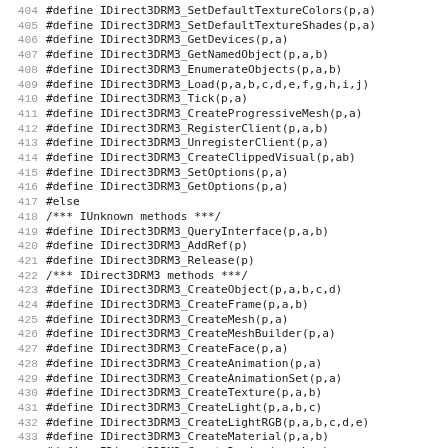404 #define IDirect3DRM3_SetDefaultTextureColors(p,a)
405 #define IDirect3DRM3_SetDefaultTextureShades(p,a)
406 #define IDirect3DRM3_GetDevices(p,a)
407 #define IDirect3DRM3_GetNamedObject(p,a,b)
408 #define IDirect3DRM3_EnumerateObjects(p,a,b)
409 #define IDirect3DRM3_Load(p,a,b,c,d,e,f,g,h,i,j)
410 #define IDirect3DRM3_Tick(p,a)
411 #define IDirect3DRM3_CreateProgressiveMesh(p,a)
412 #define IDirect3DRM3_RegisterClient(p,a,b)
413 #define IDirect3DRM3_UnregisterClient(p,a)
414 #define IDirect3DRM3_CreateClippedVisual(p,ab)
415 #define IDirect3DRM3_SetOptions(p,a)
416 #define IDirect3DRM3_GetOptions(p,a)
417 #else
418 /*** IUnknown methods ***/
419 #define IDirect3DRM3_QueryInterface(p,a,b)
420 #define IDirect3DRM3_AddRef(p)
421 #define IDirect3DRM3_Release(p)
422 /*** IDirect3DRM3 methods ***/
423 #define IDirect3DRM3_CreateObject(p,a,b,c,d)
424 #define IDirect3DRM3_CreateFrame(p,a,b)
425 #define IDirect3DRM3_CreateMesh(p,a)
426 #define IDirect3DRM3_CreateMeshBuilder(p,a)
427 #define IDirect3DRM3_CreateFace(p,a)
428 #define IDirect3DRM3_CreateAnimation(p,a)
429 #define IDirect3DRM3_CreateAnimationSet(p,a)
430 #define IDirect3DRM3_CreateTexture(p,a,b)
431 #define IDirect3DRM3_CreateLight(p,a,b,c)
432 #define IDirect3DRM3_CreateLightRGB(p,a,b,c,d,e)
433 #define IDirect3DRM3_CreateMaterial(p,a,b)
434 #define IDirect3DRM3_CreateDevice(p,a,b,c)
435 #define IDirect3DRM3_CreateDeviceFromSurface(p,a,b,c,d)